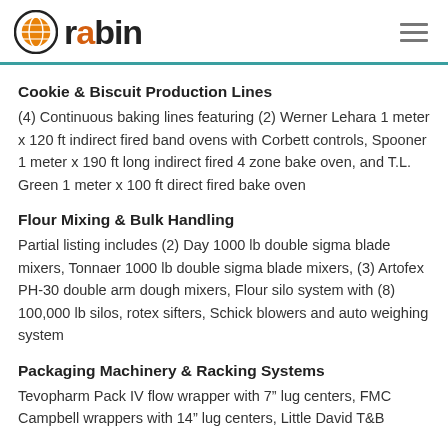rabin
Cookie & Biscuit Production Lines
(4) Continuous baking lines featuring (2) Werner Lehara 1 meter x 120 ft indirect fired band ovens with Corbett controls, Spooner 1 meter x 190 ft long indirect fired 4 zone bake oven, and T.L. Green 1 meter x 100 ft direct fired bake oven
Flour Mixing & Bulk Handling
Partial listing includes (2) Day 1000 lb double sigma blade mixers, Tonnaer 1000 lb double sigma blade mixers, (3) Artofex PH-30 double arm dough mixers, Flour silo system with (8) 100,000 lb silos, rotex sifters, Schick blowers and auto weighing system
Packaging Machinery & Racking Systems
Tevopharm Pack IV flow wrapper with 7" lug centers, FMC Campbell wrappers with 14" lug centers, Little David T&B